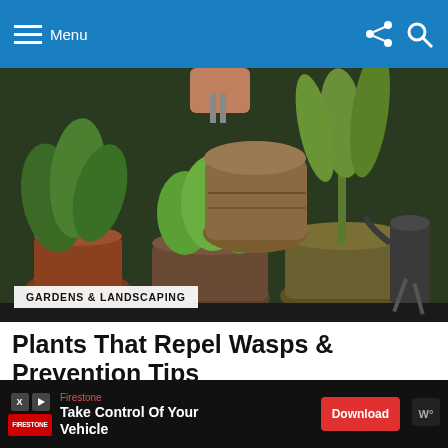Menu
[Figure (photo): Herb plants in terracotta pots arranged on a wooden surface in a garden setting, with a watering can and scissors visible.]
GARDENS & LANDSCAPING
Plants That Repel Wasps & Prevention Tips
MORE FROM: KITCHEN DESIGNS
[Figure (infographic): Advertisement banner: Firestone - Take Control Of Your Vehicle - Download button]